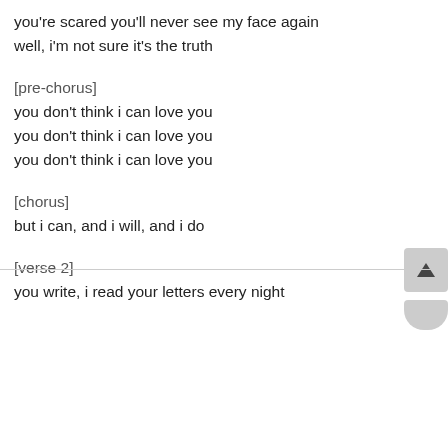you're scared you'll never see my face again
well, i'm not sure it's the truth
[pre-chorus]
you don't think i can love you
you don't think i can love you
you don't think i can love you
[chorus]
but i can, and i will, and i do
[verse 2]
you write, i read your letters every night